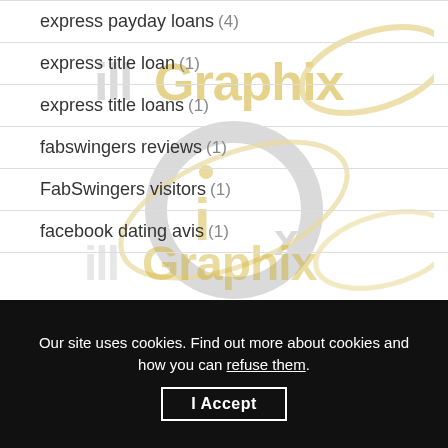express payday loans (4)
express title loan (1)
express title loans (1)
fabswingers reviews (1)
FabSwingers visitors (1)
facebook dating avis (1)
[Figure (logo): IllGraphix/iGx watermark logo overlaid on the list area, showing metallic silver and gold graphic design logo with swirl and pen nib icon]
Our site uses cookies. Find out more about cookies and how you can refuse them.
I Accept